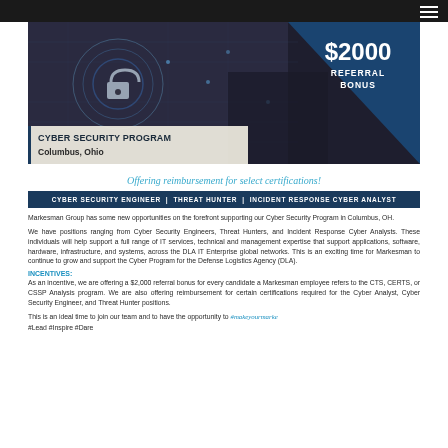[Figure (photo): Cyber security banner image with padlock, digital circuit background, and blue triangle overlay showing '$2000 REFERRAL BONUS' text. Program label overlaid: 'CYBER SECURITY PROGRAM / Columbus, Ohio']
Offering reimbursement for select certifications!
CYBER SECURITY ENGINEER | THREAT HUNTER | INCIDENT RESPONSE CYBER ANALYST
Markesman Group has some new opportunities on the forefront supporting our Cyber Security Program in Columbus, OH.
We have positions ranging from Cyber Security Engineers, Threat Hunters, and Incident Response Cyber Analysts. These individuals will help support a full range of IT services, technical and management expertise that support applications, software, hardware, infrastructure, and systems, across the DLA IT Enterprise global networks. This is an exciting time for Markesman to continue to grow and support the Cyber Program for the Defense Logistics Agency (DLA).
INCENTIVES:
As an incentive, we are offering a $2,000 referral bonus for every candidate a Markesman employee refers to the CTS, CERTS, or CSSP Analysis program. We are also offering reimbursement for certain certifications required for the Cyber Analyst, Cyber Security Engineer, and Threat Hunter positions.
This is an ideal time to join our team and to have the opportunity to #makeyourmarke
#Lead #Inspire #Dare